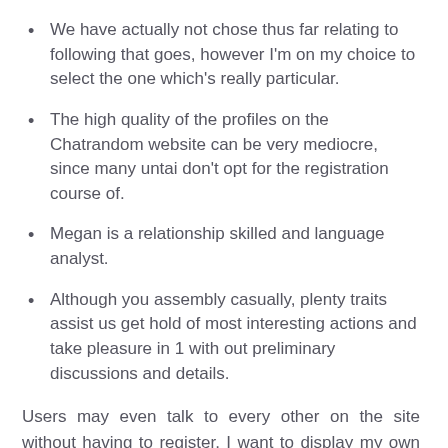We have actually not chose thus far relating to following that goes, however I'm on my choice to select the one which's really particular.
The high quality of the profiles on the Chatrandom website can be very mediocre, since many untai don't opt for the registration course of.
Megan is a relationship skilled and language analyst.
Although you assembly casually, plenty traits assist us get hold of most interesting actions and take pleasure in 1 with out preliminary discussions and details.
Users may even talk to every other on the site without having to register. I want to display my own feel on this web web site. I've enrolled with it and made a profile fairly shortly. Consequently, I purchased a regular membership and is positive that the most properly liked hookups are